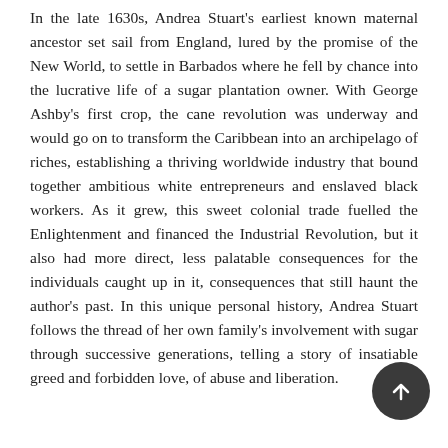In the late 1630s, Andrea Stuart's earliest known maternal ancestor set sail from England, lured by the promise of the New World, to settle in Barbados where he fell by chance into the lucrative life of a sugar plantation owner. With George Ashby's first crop, the cane revolution was underway and would go on to transform the Caribbean into an archipelago of riches, establishing a thriving worldwide industry that bound together ambitious white entrepreneurs and enslaved black workers. As it grew, this sweet colonial trade fuelled the Enlightenment and financed the Industrial Revolution, but it also had more direct, less palatable consequences for the individuals caught up in it, consequences that still haunt the author's past. In this unique personal history, Andrea Stuart follows the thread of her own family's involvement with sugar through successive generations, telling a story of insatiable greed and forbidden love, of abuse and liberation.